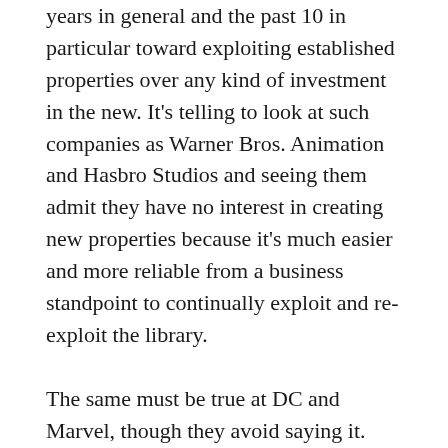years in general and the past 10 in particular toward exploiting established properties over any kind of investment in the new. It's telling to look at such companies as Warner Bros. Animation and Hasbro Studios and seeing them admit they have no interest in creating new properties because it's much easier and more reliable from a business standpoint to continually exploit and re-exploit the library.
The same must be true at DC and Marvel, though they avoid saying it. Given both companies' history with creators from Jerry Siegel and Joe Shuster to Jack Kirby, no experienced comics creator with a great idea is going to give it to either company under traditional work for hire terms. And even if there is some kind of